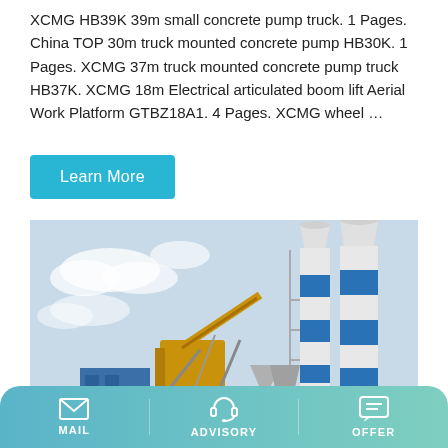XCMG HB39K 39m small concrete pump truck. 1 Pages. China TOP 30m truck mounted concrete pump HB30K. 1 Pages. XCMG 37m truck mounted concrete pump truck HB37K. XCMG 18m Electrical articulated boom lift Aerial Work Platform GTBZ18A1. 4 Pages. XCMG wheel …
[Figure (other): A 'Learn More' call-to-action button in cyan/teal color]
[Figure (photo): Photo of a concrete batching plant with two large white and blue cylindrical silos, a yellow mixing/conveyor unit, and a blue building in the foreground under a partly cloudy sky.]
MAIL   ADVISORY   OFFER